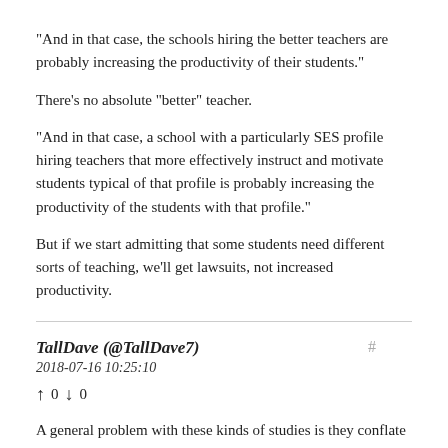"And in that case, the schools hiring the better teachers are probably increasing the productivity of their students."
There's no absolute "better" teacher.
"And in that case, a school with a particularly SES profile hiring teachers that more effectively instruct and motivate students typical of that profile is probably increasing the productivity of the students with that profile."
But if we start admitting that some students need different sorts of teaching, we'll get lawsuits, not increased productivity.
TallDave (@TallDave7)
2018-07-16 10:25:10
↑ 0 ↓ 0
A general problem with these kinds of studies is they conflate "mobility" with "movement." An ordinary potato has neither, a